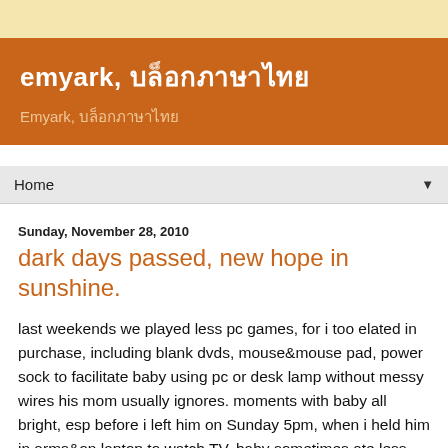emyark, บล็อกภาษาไทย
Emyark, บล็อกภาษาไทย
Home
Sunday, November 28, 2010
dark days passed, new hope in sunshine.
last weekends we played less pc games, for i too elated in purchase, including blank dvds, mouse&mouse pad, power sock to facilitate baby using pc or desk lamp without messy wires his mom usually ignores. moments with baby all bright, esp before i left him on Sunday 5pm, when i held him in arms&on laptop to watch TV, baby sometimes ate less